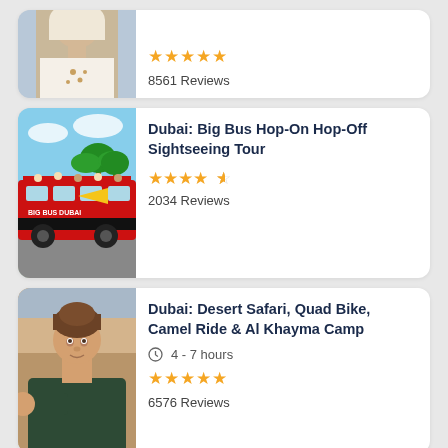[Figure (screenshot): Top partial card showing a woman in a headscarf, 5 gold stars, and 8561 Reviews]
[Figure (screenshot): Card with Big Bus Dubai photo, title 'Dubai: Big Bus Hop-On Hop-Off Sightseeing Tour', 4.5 stars, 2034 Reviews]
[Figure (screenshot): Card with man photo, title 'Dubai: Desert Safari, Quad Bike, Camel Ride & Al Khayma Camp', 4-7 hours, 5 stars, 6576 Reviews]